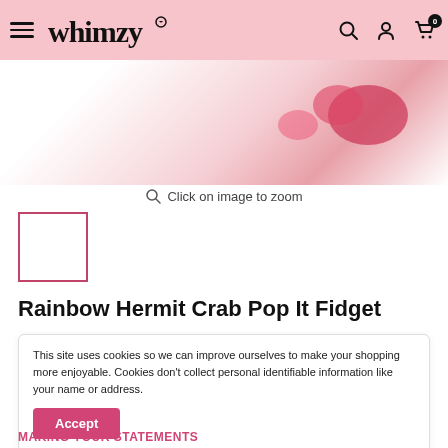Whimzy
[Figure (photo): Product image area showing partial view of Rainbow Hermit Crab Pop It Fidget toy with pink/red colors against white background]
Click on image to zoom
[Figure (photo): Thumbnail image of product with pink border]
Rainbow Hermit Crab Pop It Fidget
This site uses cookies so we can improve ourselves to make your shopping more enjoyable. Cookies don't collect personal identifiable information like your name or address.
Accept
MAKING YOUR STATEMENTS